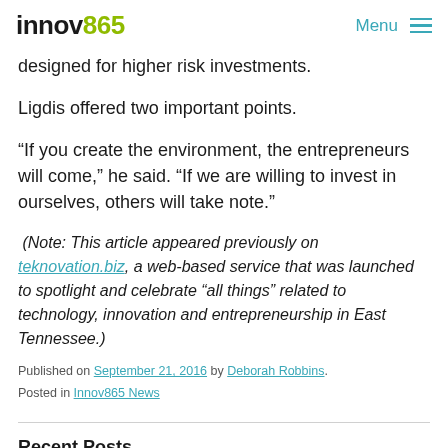innov865 | Menu
designed for higher risk investments.
Ligdis offered two important points.
“If you create the environment, the entrepreneurs will come,” he said. “If we are willing to invest in ourselves, others will take note.”
(Note: This article appeared previously on teknovation.biz, a web-based service that was launched to spotlight and celebrate “all things” related to technology, innovation and entrepreneurship in East Tennessee.)
Published on September 21, 2016 by Deborah Robbins. Posted in Innov865 News
Recent Posts